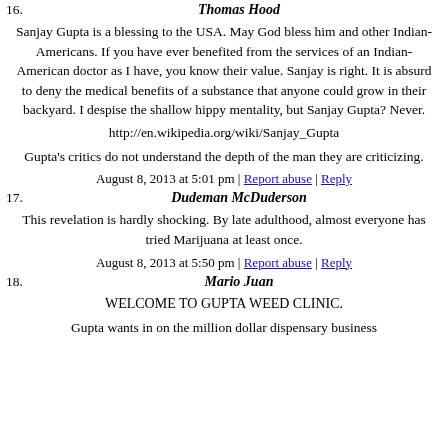16. Thomas Hood
Sanjay Gupta is a blessing to the USA. May God bless him and other Indian-Americans. If you have ever benefited from the services of an Indian-American doctor as I have, you know their value. Sanjay is right. It is absurd to deny the medical benefits of a substance that anyone could grow in their backyard. I despise the shallow hippy mentality, but Sanjay Gupta? Never.
http://en.wikipedia.org/wiki/Sanjay_Gupta
Gupta's critics do not understand the depth of the man they are criticizing.
August 8, 2013 at 5:01 pm | Report abuse | Reply
17. Dudeman McDuderson
This revelation is hardly shocking. By late adulthood, almost everyone has tried Marijuana at least once.
August 8, 2013 at 5:50 pm | Report abuse | Reply
18. Mario Juan
WELCOME TO GUPTA WEED CLINIC.
Gupta wants in on the million dollar dispensary business